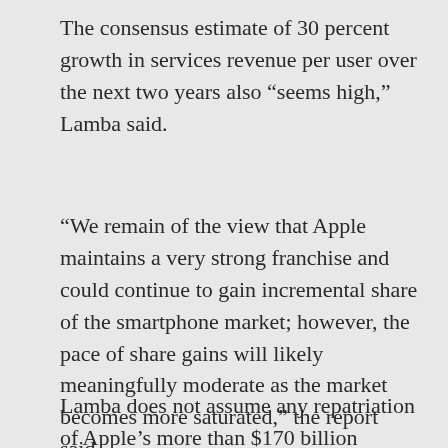The consensus estimate of 30 percent growth in services revenue per user over the next two years also “seems high,” Lamba said.
“We remain of the view that Apple maintains a very strong franchise and could continue to gain incremental share of the smartphone market; however, the pace of share gains will likely meaningfully moderate as the market becomes more saturated,” the report said.
Lamba does not assume any repatriation of Apple’s more than $170 billion overseas